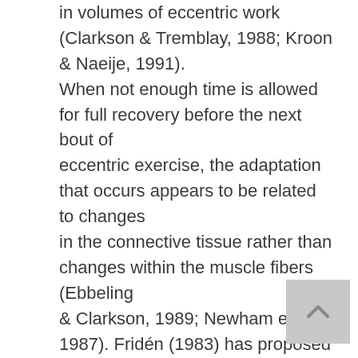in volumes of eccentric work (Clarkson & Tremblay, 1988; Kroon & Naeije, 1991). When not enough time is allowed for full recovery before the next bout of eccentric exercise, the adaptation that occurs appears to be related to changes in the connective tissue rather than changes within the muscle fibers (Ebbeling & Clarkson, 1989; Newham et al. 1987). Fridén (1983) has proposed three possible adaptations that can occur within the myofibrils when full recovery between exercise bouts takes place. These changes are increases in sarcomere length, the number of longitudinal sarcomeres, and synthesis of Z-band proteins (Ebbeling & Clarkson, 1989). Although adaptation to